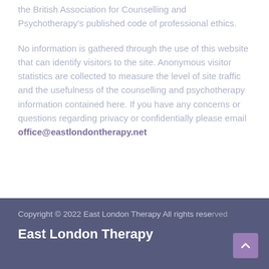the British Association for Counselling and Psychotherapy's published code of professional ethics.
No information is gathered through the use of this website that can identify visitors to the site. Anonymous visitor statistics are collected to measure the level of site traffic and the usefulness of the counselling and psychotherapy information contained here. If you have any concerns or questions regarding privacy or confidentially please email office@eastlondontherapy.net
Copyright © 2022 East London Therapy All rights reserved
East London Therapy